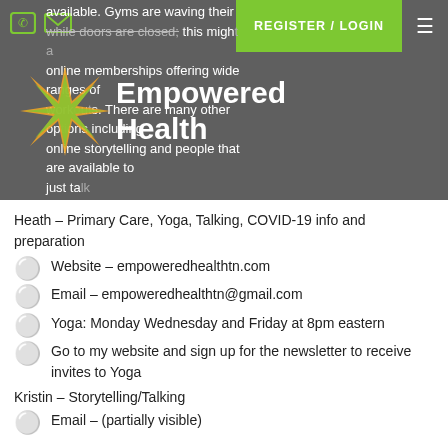[Figure (screenshot): Website header with dark overlay showing partial text about gyms, online memberships and workouts. Contains phone and email icons top-left, REGISTER/LOGIN button top-right, hamburger menu, and Empowered Health logo with orange/green star graphic.]
Heath – Primary Care, Yoga, Talking, COVID-19 info and preparation
Website – empoweredhealthtn.com
Email – empoweredhealthtn@gmail.com
Yoga: Monday Wednesday and Friday at 8pm eastern
Go to my website and sign up for the newsletter to receive invites to Yoga
Kristin – Storytelling/Talking
Email – (partially visible)